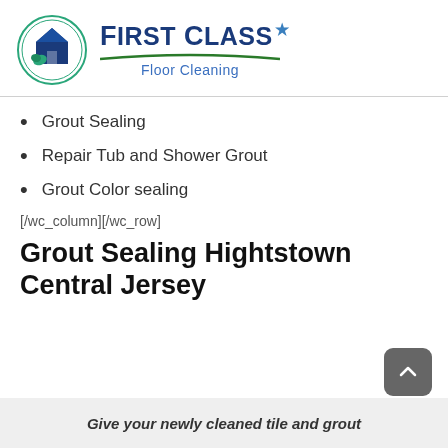[Figure (logo): First Class Floor Cleaning logo with circular icon of house and green swoosh beneath the brand name]
Grout Sealing
Repair Tub and Shower Grout
Grout Color sealing
[/wc_column][/wc_row]
Grout Sealing Hightstown Central Jersey
Give your newly cleaned tile and grout